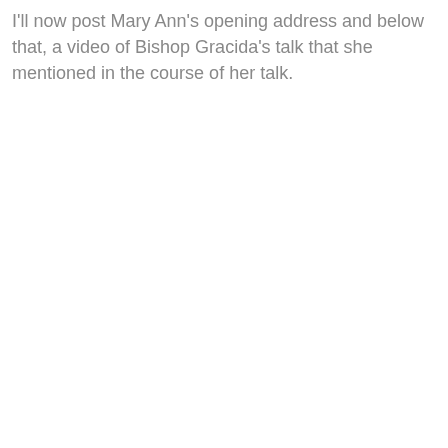I'll now post Mary Ann's opening address and below that, a video of Bishop Gracida's talk that she mentioned in the course of her talk.